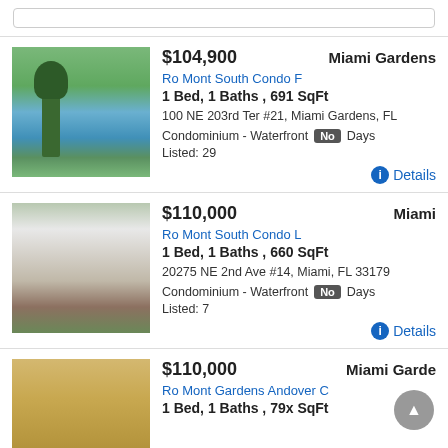[Figure (photo): Exterior photo showing trees, palm tree and waterfront/lake behind a grassy area]
$104,900  Miami Gardens
Ro Mont South Condo F
1 Bed, 1 Baths , 691 SqFt
100 NE 203rd Ter #21, Miami Gardens, FL
Condominium - Waterfront No  Days
Listed: 29
Details
[Figure (photo): Exterior photo of a two-story white building/apartment complex with balconies and red walkway]
$110,000  Miami
Ro Mont South Condo L
1 Bed, 1 Baths , 660 SqFt
20275 NE 2nd Ave #14, Miami, FL 33179
Condominium - Waterfront No  Days
Listed: 7
Details
[Figure (photo): Interior photo of a room with warm lighting and ceiling fixture]
$110,000  Miami Garde
Ro Mont Gardens Andover C
1 Bed, 1 Baths , 79x SqFt